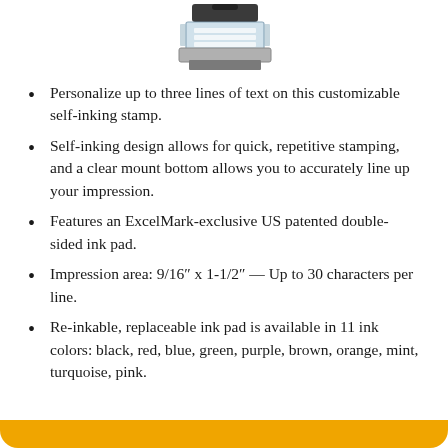[Figure (photo): Product photo of a self-inking stamp, shown at the top of the page]
Personalize up to three lines of text on this customizable self-inking stamp.
Self-inking design allows for quick, repetitive stamping, and a clear mount bottom allows you to accurately line up your impression.
Features an ExcelMark-exclusive US patented double-sided ink pad.
Impression area: 9/16″ x 1-1/2″ — Up to 30 characters per line.
Re-inkable, replaceable ink pad is available in 11 ink colors: black, red, blue, green, purple, brown, orange, mint, turquoise, pink.